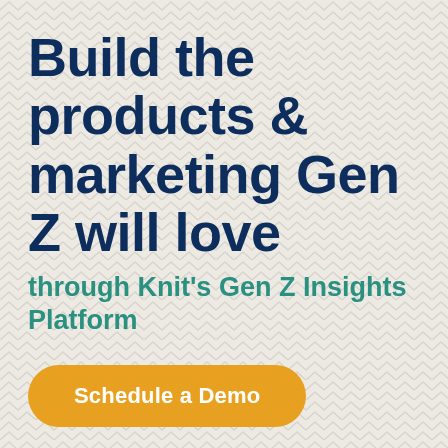Build the products & marketing Gen Z will love
through Knit's Gen Z Insights Platform
Schedule a Demo